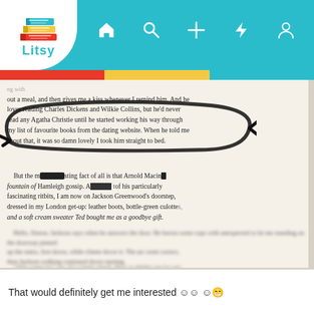[Figure (screenshot): Litsy app screenshot showing a photo of an open book page with hand-drawn oval marking a passage about reading Charles Dickens and Agatha Christie]
That would definitely get me interested 🙂🙂🙂😁